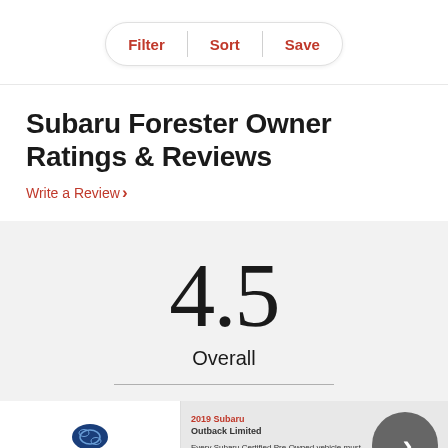Filter | Sort | Save
Subaru Forester Owner Ratings & Reviews
Write a Review >
[Figure (other): Large rating number 4.5 with Overall label and horizontal divider line on gray background]
[Figure (other): Subaru advertisement banner showing 2019 Subaru Outback Limited, with Subaru logo, car image, certified pre-owned text, and navigation chevron button]